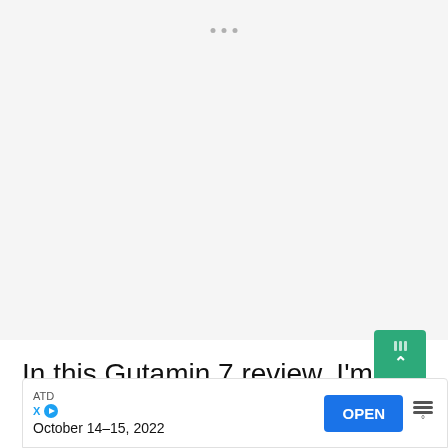[Figure (screenshot): Light gray empty area with three small gray dots near the top center, representing a loading or placeholder content area of a webpage.]
In this Gutamin 7 review, I'm going to cover the following topics.
[Figure (screenshot): Advertisement banner showing 'ATD' source label, 'October 14-15, 2022' text with X and play icons on the left, a blue 'OPEN' button, and a wavy lines logo on the right.]